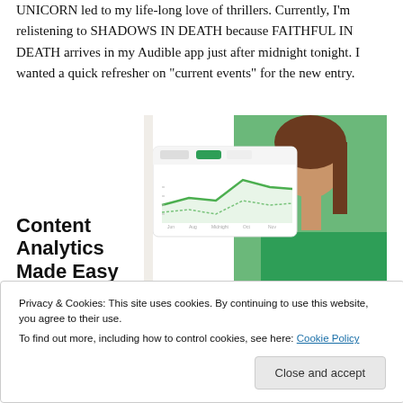UNICORN led to my life-long love of thrillers. Currently, I'm relistening to SHADOWS IN DEATH because FAITHFUL IN DEATH arrives in my Audible app just after midnight tonight. I wanted a quick refresher on "current events" for the new entry.
[Figure (screenshot): Screenshot of a content analytics web app interface showing a line chart, with a smiling woman in a green sweater in the background]
Content Analytics Made Easy
Privacy & Cookies: This site uses cookies. By continuing to use this website, you agree to their use.
To find out more, including how to control cookies, see here: Cookie Policy